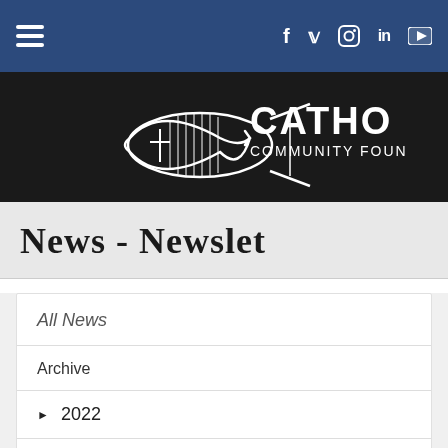Navigation bar with hamburger menu and social icons: f (Facebook), Twitter, Instagram, in (LinkedIn), YouTube
[Figure (logo): Catholic Community Foundation logo: fish symbol with rays inside and text CATHO... COMMUNITY FOUN... on dark background]
News - Newslet...
All News
Archive
2022
2021
2020